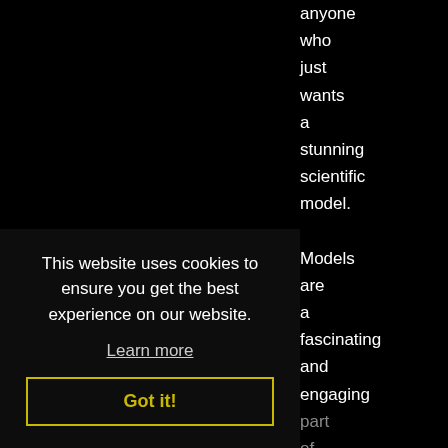anyone who just wants a stunning scientific model.
Models are a fascinating and engaging part of chemistry teaching, are a useful tool for combining chemical concepts or
This website uses cookies to ensure you get the best experience on our website.
Learn more
Got it!